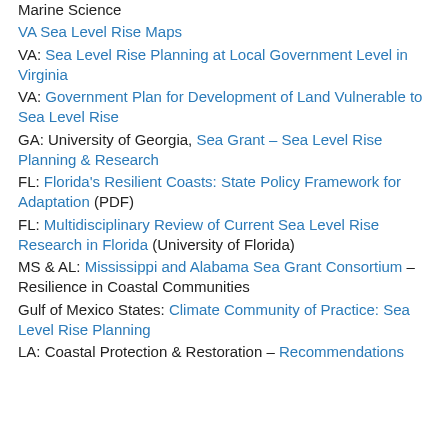Marine Science
VA Sea Level Rise Maps
VA: Sea Level Rise Planning at Local Government Level in Virginia
VA: Government Plan for Development of Land Vulnerable to Sea Level Rise
GA: University of Georgia, Sea Grant – Sea Level Rise Planning & Research
FL: Florida's Resilient Coasts: State Policy Framework for Adaptation (PDF)
FL: Multidisciplinary Review of Current Sea Level Rise Research in Florida (University of Florida)
MS & AL: Mississippi and Alabama Sea Grant Consortium – Resilience in Coastal Communities
Gulf of Mexico States: Climate Community of Practice: Sea Level Rise Planning
LA: Coastal Protection & Restoration – Recommendations